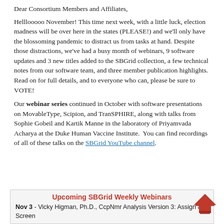Dear Consortium Members and Affiliates,
Helllooooo November! This time next week, with a little luck, election madness will be over here in the states (PLEASE!) and we'll only have the blossoming pandemic to distract us from tasks at hand. Despite those distractions, we've had a busy month of webinars, 9 software updates and 3 new titles added to the SBGrid collection, a few technical notes from our software team, and three member publication highlights. Read on for full details, and to everyone who can, please be sure to VOTE!
Our webinar series continued in October with software presentations on MovableType, Scipion, and TranSPHIRE, along with talks from Sophie Gobeil and Kartik Manne in the laboratory of Priyamvada Acharya at the Duke Human Vaccine Institute. You can find recordings of all of these talks on the SBGrid YouTube channel.
Upcoming SBGrid Weekly Webinars
Nov 3 - Vicky Higman, Ph.D., CcpNmr Analysis Version 3: Assign & Screen